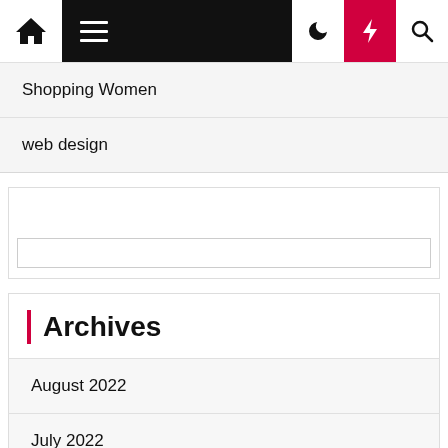Navigation bar with home, menu, moon, bolt, and search icons
Shopping Women
web design
[Figure (screenshot): Search widget box with empty text input field]
Archives
August 2022
July 2022
June 2022